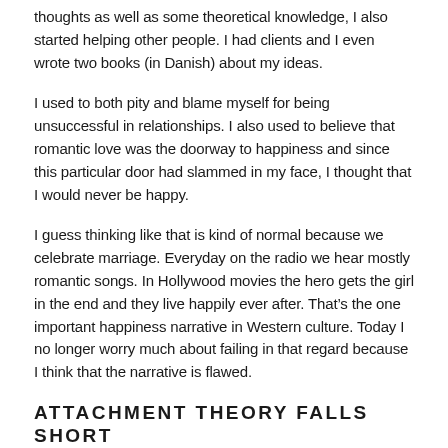thoughts as well as some theoretical knowledge, I also started helping other people. I had clients and I even wrote two books (in Danish) about my ideas.
I used to both pity and blame myself for being unsuccessful in relationships. I also used to believe that romantic love was the doorway to happiness and since this particular door had slammed in my face, I thought that I would never be happy.
I guess thinking like that is kind of normal because we celebrate marriage. Everyday on the radio we hear mostly romantic songs. In Hollywood movies the hero gets the girl in the end and they live happily ever after. That’s the one important happiness narrative in Western culture. Today I no longer worry much about failing in that regard because I think that the narrative is flawed.
ATTACHMENT THEORY FALLS SHORT